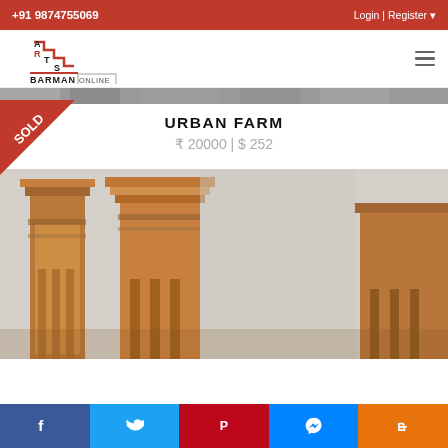+91 9874755069 | Login | Register
[Figure (logo): Arts Barman Online logo with staircase design in red and black]
[Figure (photo): Narrow horizontal strip showing artwork thumbnails in grayscale]
URBAN FARM
₹ 20000 | $ 252
[Figure (photo): Painting of Indian temple architecture with ornate stone columns and tiered roofs in warm brown/ochre tones]
Social sharing buttons: Facebook, Twitter, Pinterest, Messenger, Blogger